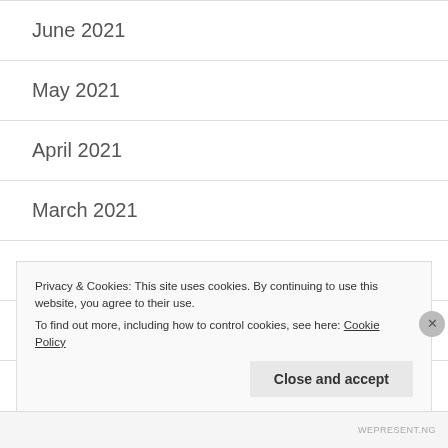June 2021
May 2021
April 2021
March 2021
February 2021
January 2021
Privacy & Cookies: This site uses cookies. By continuing to use this website, you agree to their use.
To find out more, including how to control cookies, see here: Cookie Policy
WEPRESENT.NG